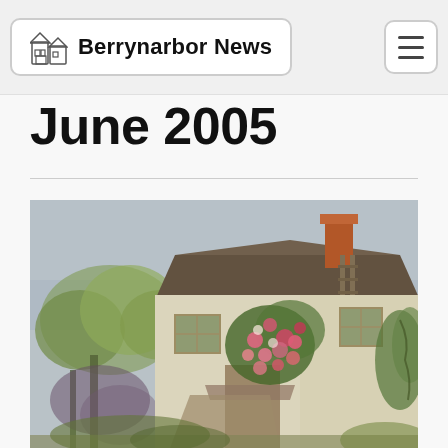Berrynarbor News
June 2005
[Figure (illustration): Painting of a traditional English cottage with climbing roses and flowers on the facade, green trees on the left, a path leading to the entrance, and a chimney visible on the right side of the roof. The style appears to be a vintage watercolour or oil painting postcard.]